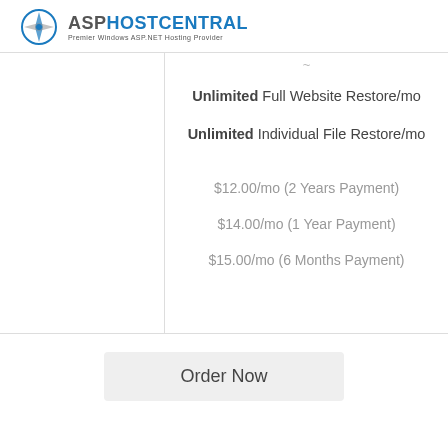ASPHOSTCENTRAL Premier Windows ASP.NET Hosting Provider
Unlimited Full Website Restore/mo
Unlimited Individual File Restore/mo
$12.00/mo (2 Years Payment)
$14.00/mo (1 Year Payment)
$15.00/mo (6 Months Payment)
Order Now